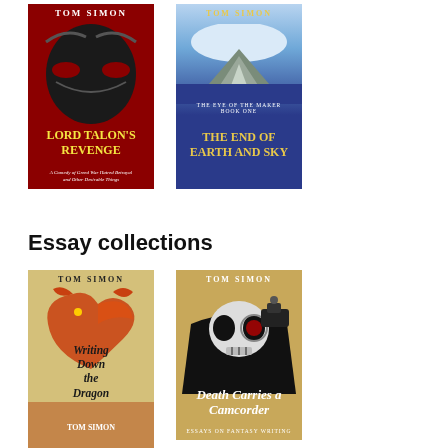[Figure (illustration): Book cover: Lord Talon's Revenge by Tom Simon. Dark red background with mask imagery. Subtitle: A Comedy of Greed War Hatred Betrayal and Other Desirable Things.]
[Figure (illustration): Book cover: The End of Earth and Sky by Tom Simon. Blue cover with mountain/sky scene. Series: The Eye of the Maker, Book One.]
Essay collections
[Figure (illustration): Book cover: Writing Down the Dragon and Other Essays by Tom Simon. Tan/gold background with red dragon illustration. Subtitle: On the Tolkien Method and the Craft of Fantasy.]
[Figure (illustration): Book cover: Death Carries a Camcorder by Tom Simon. Gold/tan background with skull in black cloak. Subtitle: Essays on Fantasy Writing.]
[Figure (illustration): Partial book cover at bottom, tan/orange color, partially visible.]